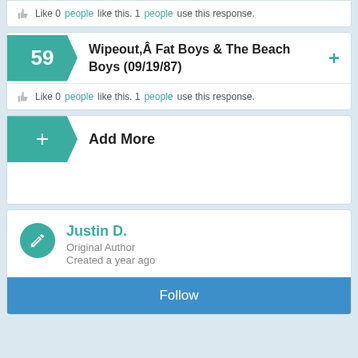Like 0 people like this. 1 people use this response.
59 Wipeout,Â Fat Boys & The Beach Boys (09/19/87)
Like 0 people like this. 1 people use this response.
+ Add More
Justin D. Original Author Created a year ago
Follow